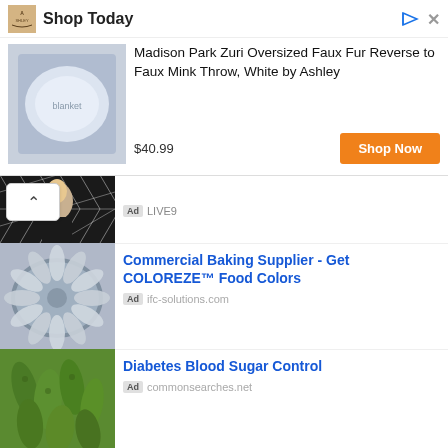[Figure (screenshot): Top banner ad for Ashley furniture showing 'Shop Today' header with logo, product image of white faux fur throw blanket, product title 'Madison Park Zuri Oversized Faux Fur Reverse to Faux Mink Throw, White by Ashley', price '$40.99', and orange 'Shop Now' button]
[Figure (screenshot): Ad item showing woman (Kelly Ripa) with geometric background, labeled with 'Ad' badge and 'LIVE9']
[Figure (screenshot): Ad item for 'Commercial Baking Supplier - Get COLOREZE™ Food Colors' from ifc-solutions.com, showing image of fish arranged in a circle]
[Figure (screenshot): Ad item for 'Diabetes Blood Sugar Control' from commonsearches.net, showing image of bitter gourds]
[Figure (screenshot): Ad item for 'Cheap French Toast To Make - Easy French Toast Recipes' from mccormick.com, showing image of assorted pastries and sweets]